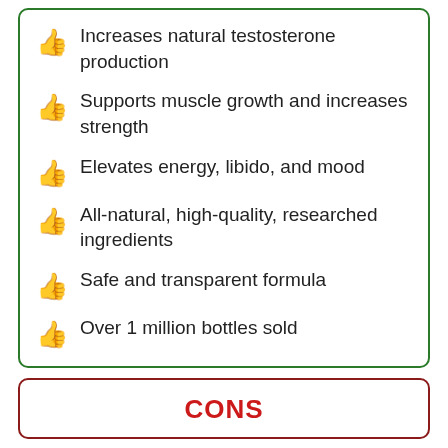Increases natural testosterone production
Supports muscle growth and increases strength
Elevates energy, libido, and mood
All-natural, high-quality, researched ingredients
Safe and transparent formula
Over 1 million bottles sold
CONS